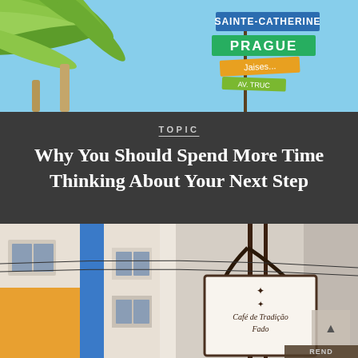[Figure (photo): Top photo showing tropical palm tree leaves and colorful street signs including SAINTE-CATHERINE in blue, PRAGUE in green, and other signs on a sunny day]
TOPIC
Why You Should Spend More Time Thinking About Your Next Step
Angie Taylor  •  April 24, 2019
[Figure (photo): Bottom photo showing a European street scene with white building facades, orange and blue architectural details, wrought iron sign posts with decorative text reading Cafe de Tradição Fado or similar, and a scroll-up button]